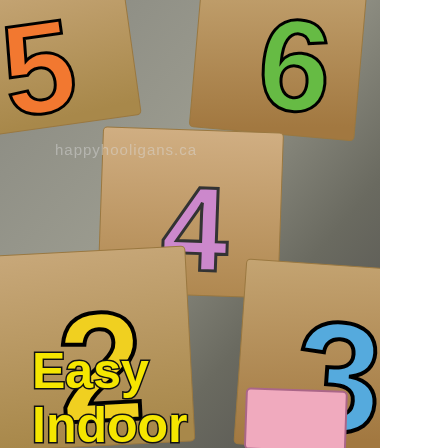[Figure (photo): Photo of cardboard number cards (showing numbers 2, 3, 4, 5, 6, and 1) laid out on a carpet/floor. The numbers are printed in bright colors: orange 5 (top left), green 6 (top right), purple 4 (center), yellow 2 (lower left), blue 3 (lower right), pink 1 (bottom right). A small blue pyramid/bean bag sits on the center card. The website watermark 'happyhooligans.ca' appears faintly across the middle. Text overlay at bottom left reads 'Easy Indoor' in bold yellow with black outline.]
happyhooligans.ca
Easy Indoor